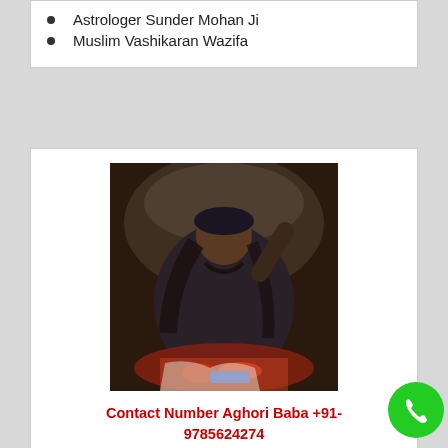Astrologer Sunder Mohan Ji
Muslim Vashikaran Wazifa
[Figure (photo): A man with long hair wearing dark clothing seated at a table performing a ritual, raising his hand]
Contact Number Aghori Baba +91-9785624274
Contact Number Aghori Baba Who is world famous and trusted Baba ji. call us:+91-9785624274.